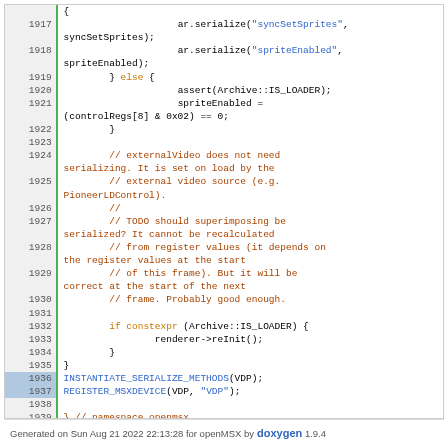[Figure (screenshot): Source code listing showing C++ serialization code for VDP class, lines 1917-1939, with syntax highlighting. Comments in red/brown, keywords in orange, string literals in blue, macro calls in blue. Green bar on left border for line numbers.]
Generated on Sun Aug 21 2022 22:13:28 for openMSX by doxygen 1.9.4